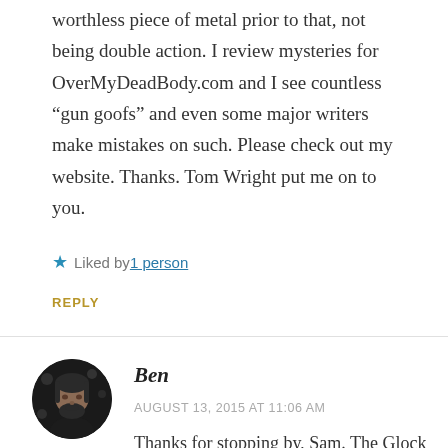worthless piece of metal prior to that, not being double action. I review mysteries for OverMyDeadBody.com and I see countless “gun goofs” and even some major writers make mistakes on such. Please check out my website. Thanks. Tom Wright put me on to you.
★ Liked by 1 person
REPLY
[Figure (photo): Circular avatar photo of Ben, a man with dark hair and beard against a dark background]
Ben
AUGUST 13, 2015 AT 11:06 AM
Thanks for stopping by, Sam. The Glock